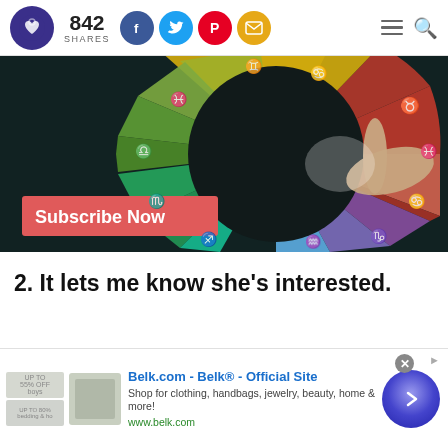[Figure (logo): Dark blue/purple circular logo with a heart icon inside]
842
SHARES
[Figure (infographic): Social share buttons: Facebook (blue), Twitter (light blue), Pinterest (red), Email (gold/yellow)]
[Figure (photo): Zodiac wheel with colorful segments and astrology symbols, a finger pointing at the wheel on a dark background. Overlay text: Subscribe Now]
2. It lets me know she's interested.
[Figure (screenshot): Ad banner for Belk.com - Belk® - Official Site. Text: Shop for clothing, handbags, jewelry, beauty, home & more! www.belk.com. With product thumbnails and a circular CTA button with right arrow.]